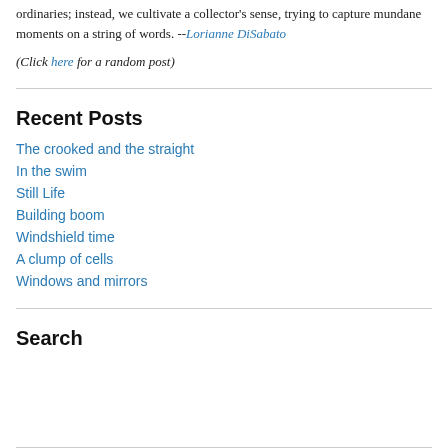ordinaries; instead, we cultivate a collector's sense, trying to capture mundane moments on a string of words. --Lorianne DiSabato
(Click here for a random post)
Recent Posts
The crooked and the straight
In the swim
Still Life
Building boom
Windshield time
A clump of cells
Windows and mirrors
Search